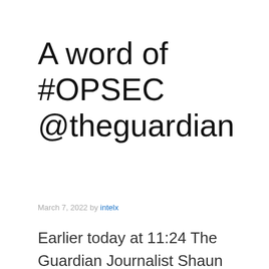A word of #OPSEC @theguardian
March 7, 2022 by intelx
Earlier today at 11:24 The Guardian Journalist Shaun Walker posted the security procedure and the security token used to pass makeshift checkpoints in Ukraine, related